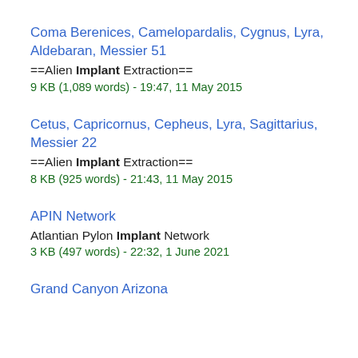Coma Berenices, Camelopardalis, Cygnus, Lyra, Aldebaran, Messier 51
==Alien Implant Extraction==
9 KB (1,089 words) - 19:47, 11 May 2015
Cetus, Capricornus, Cepheus, Lyra, Sagittarius, Messier 22
==Alien Implant Extraction==
8 KB (925 words) - 21:43, 11 May 2015
APIN Network
Atlantian Pylon Implant Network
3 KB (497 words) - 22:32, 1 June 2021
Grand Canyon Arizona